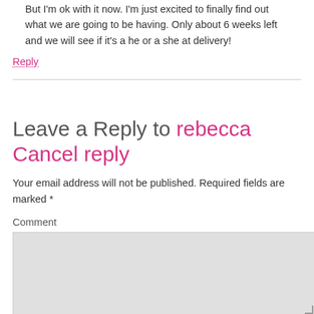But I'm ok with it now. I'm just excited to finally find out what we are going to be having. Only about 6 weeks left and we will see if it's a he or a she at delivery!
Reply
Leave a Reply to rebecca Cancel reply
Your email address will not be published. Required fields are marked *
Comment